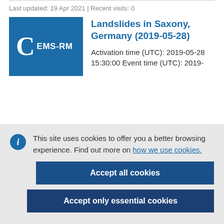Last updated: 19 Apr 2021 | Recent visits: 0
Landslides in Saxony, Germany (2019-05-28)
Activation time (UTC): 2019-05-28 15:30:00 Event time (UTC): 2019-
This site uses cookies to offer you a better browsing experience. Find out more on how we use cookies.
Accept all cookies
Accept only essential cookies